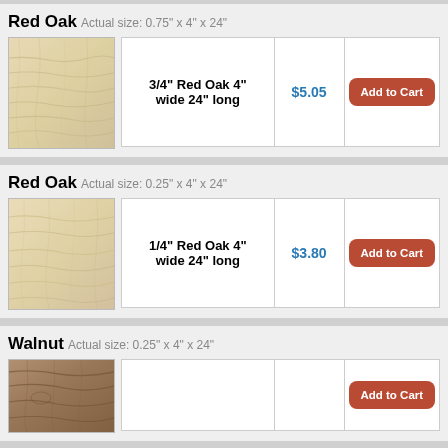Red Oak Actual size: 0.75" x 4" x 24"
| Product | Price | Action |
| --- | --- | --- |
| 3/4" Red Oak 4" wide 24" long | $5.05 | Add to Cart |
Red Oak Actual size: 0.25" x 4" x 24"
| Product | Price | Action |
| --- | --- | --- |
| 1/4" Red Oak 4" wide 24" long | $3.80 | Add to Cart |
Walnut Actual size: 0.25" x 4" x 24"
| Product | Price | Action |
| --- | --- | --- |
|  |  | Add to Cart |